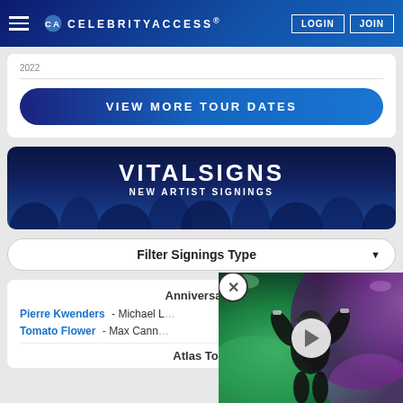CELEBRITYACCESS LOGIN JOIN
2022
VIEW MORE TOUR DATES
VITALSIGNS NEW ARTIST SIGNINGS
Filter Signings Type
Anniversary
Pierre Kwenders - Michael L...
Tomato Flower - Max Cann...
Atlas To...
[Figure (photo): Video thumbnail showing a performer (rapper) on stage with arms raised, wearing a cap and white t-shirt, with colorful stage lighting in green and purple tones. A white play button circle is overlaid in the center.]